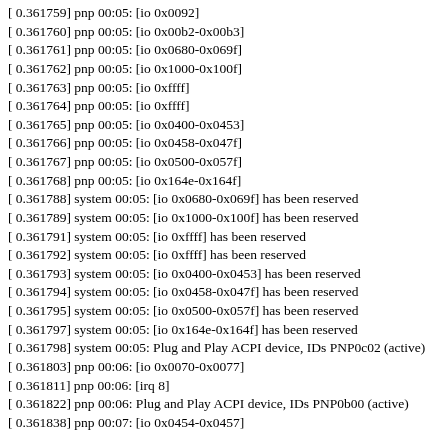[ 0.361759] pnp 00:05: [io 0x0092]
[ 0.361760] pnp 00:05: [io 0x00b2-0x00b3]
[ 0.361761] pnp 00:05: [io 0x0680-0x069f]
[ 0.361762] pnp 00:05: [io 0x1000-0x100f]
[ 0.361763] pnp 00:05: [io 0xffff]
[ 0.361764] pnp 00:05: [io 0xffff]
[ 0.361765] pnp 00:05: [io 0x0400-0x0453]
[ 0.361766] pnp 00:05: [io 0x0458-0x047f]
[ 0.361767] pnp 00:05: [io 0x0500-0x057f]
[ 0.361768] pnp 00:05: [io 0x164e-0x164f]
[ 0.361788] system 00:05: [io 0x0680-0x069f] has been reserved
[ 0.361789] system 00:05: [io 0x1000-0x100f] has been reserved
[ 0.361791] system 00:05: [io 0xffff] has been reserved
[ 0.361792] system 00:05: [io 0xffff] has been reserved
[ 0.361793] system 00:05: [io 0x0400-0x0453] has been reserved
[ 0.361794] system 00:05: [io 0x0458-0x047f] has been reserved
[ 0.361795] system 00:05: [io 0x0500-0x057f] has been reserved
[ 0.361797] system 00:05: [io 0x164e-0x164f] has been reserved
[ 0.361798] system 00:05: Plug and Play ACPI device, IDs PNP0c02 (active)
[ 0.361803] pnp 00:06: [io 0x0070-0x0077]
[ 0.361811] pnp 00:06: [irq 8]
[ 0.361822] pnp 00:06: Plug and Play ACPI device, IDs PNP0b00 (active)
[ 0.361838] pnp 00:07: [io 0x0454-0x0457]